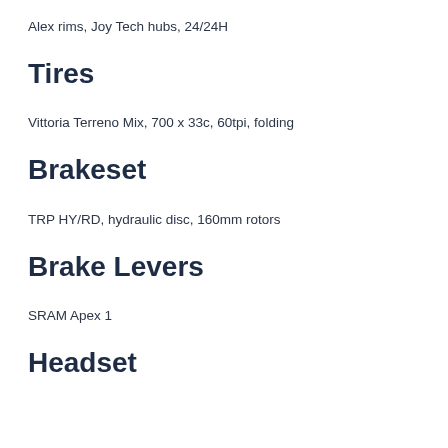Alex rims, Joy Tech hubs, 24/24H
Tires
Vittoria Terreno Mix, 700 x 33c, 60tpi, folding
Brakeset
TRP HY/RD, hydraulic disc, 160mm rotors
Brake Levers
SRAM Apex 1
Headset